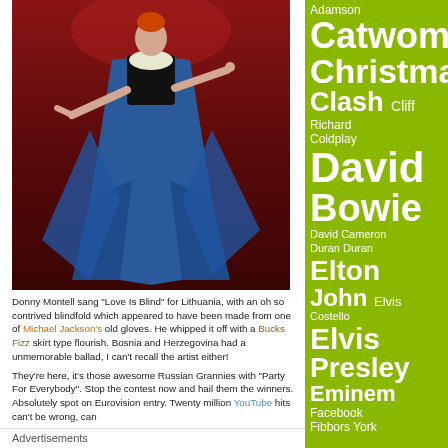[Figure (photo): A performer in an elaborate costume with black and blue dramatic robes, arms outstretched, against a dark red background]
Donny Montell sang “Love Is Blind” for Lithuania, with an oh so contrived blindfold which appeared to have been made from one of Michael Jackson’s old gloves. He whipped it off with a Bucks Fizz skirt type flourish. Bosnia and Herzegovina had a unmemorable ballad, I can’t recall the artist either!
They’re here, it’s those awesome Russian Grannies with “Party For Everybody”. Stop the contest now and hail them the winners. Absolutely spot on Eurovision entry. Twenty million YouTube hits can’t be wrong, can
Advertisements
[Figure (logo): Longreads logo - circular red logo with L inside, and LONGREADS text alongside tagline: Bringing you the best stories on the web since 2009.]
Adamson
Catwoman
Christmas
Clash
Cliff Richard
Coldplay
David Bowie
David Cameron
Duran Duran
Elton John
Elvis Costello
Elvis Presley
Eminem
Facebook
Fibbors York